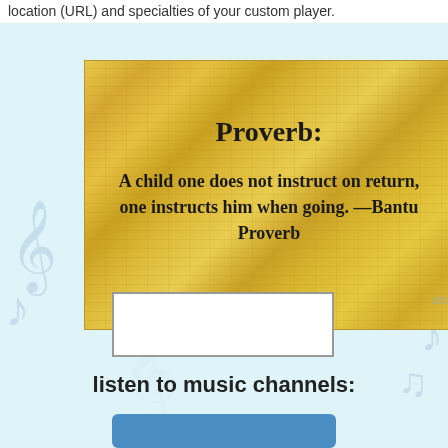location (URL) and specialties of your custom player.
[Figure (illustration): A papyrus-textured yellow-golden background card displaying a proverb. Title 'Proverb:' in bold serif, followed by bold text: 'A child one does not instruct on return, one instructs him when going. —Bantu Proverb']
listen to music channels: